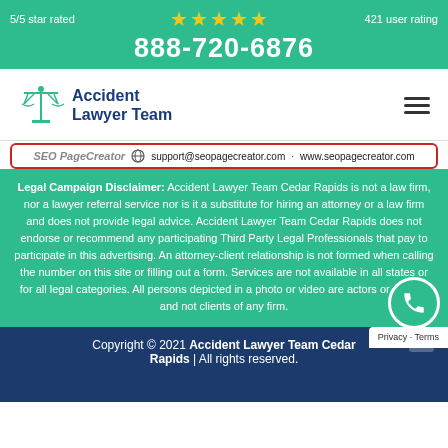5/5 star rated ★★★★★ 421 user rating 888-720-6876
[Figure (logo): Accident Lawyer Team logo with scales of justice icon]
support@seopagecreator.com  www.seopagecreator.com
Legal Campaign Disclaimer: Accident Lawyer Team Cedar Rapids is not a law firm, nor a lawyer referral service nor is it a substitute for hiring an attorney or a law firm and does not provide legal advice. Accident Lawyer Team Cedar Rapids does not endorse or recommend any participating Third Party Legal Professionals that pay to participate in this advertising. An attorney-client relationship is not formed when calling the number on this site or filling out a form. Services are not available in all states or for all legal categories. All persons depicted in a photo or video are actors or models and not clients of any firm.
Copyright © 2021 Accident Lawyer Team Cedar Rapids | All rights reserved.